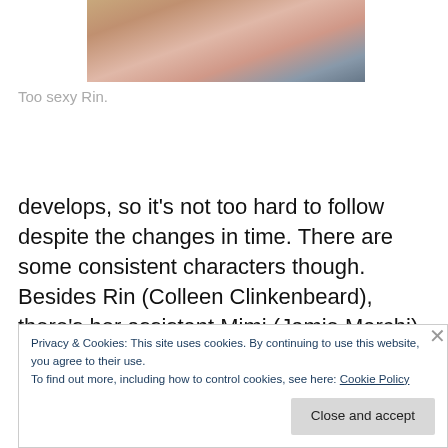[Figure (illustration): Partial anime-style illustration cropped at top, showing a character (Rin) in pink/beige tones.]
Too sexy Rin.
develops, so it’s not too hard to follow despite the changes in time. There are some consistent characters though. Besides Rin (Colleen Clinkenbeard), there’s her assistant Mimi (Jamie Marchi) the other immortal computer wiz of
Privacy & Cookies: This site uses cookies. By continuing to use this website, you agree to their use.
To find out more, including how to control cookies, see here: Cookie Policy
Close and accept